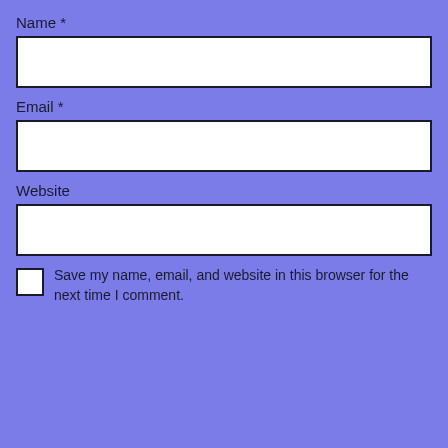Name *
[Figure (other): Text input field for Name]
Email *
[Figure (other): Text input field for Email]
Website
[Figure (other): Text input field for Website]
Save my name, email, and website in this browser for the next time I comment.